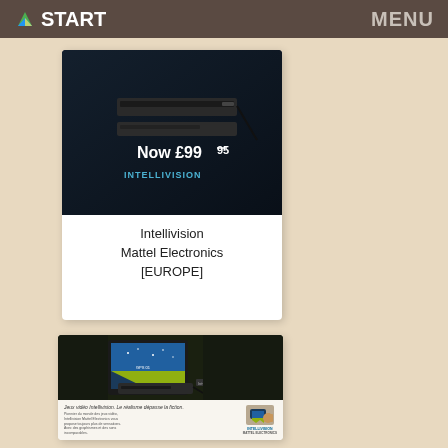START  MENU
[Figure (photo): Intellivision game console advertisement with text 'Now £99.95' and INTELLIVISION logo on dark background]
Intellivision
Mattel Electronics
[EUROPE]
[Figure (photo): Intellivision advertisement in French showing console with monitor displaying map/navigation screen, headline 'Jeux vidéo Intellivision. Le réalisme dépasse la fiction.' with body text and INTELLIVISION Mattel Electronics logo]